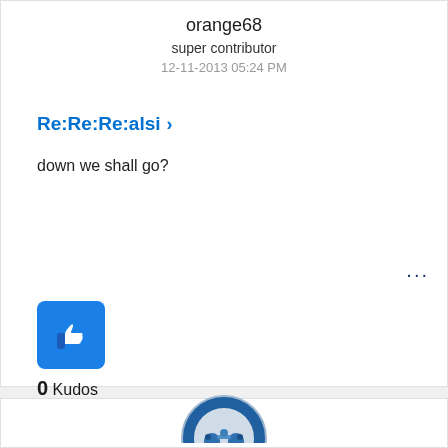orange68
super contributor
12-11-2013 05:24 PM
Re:Re:Re:alsi >
down we shall go?
[Figure (illustration): Three dark navy dots (ellipsis menu icon)]
[Figure (illustration): Blue square thumbs-up kudos button]
0 Kudos
[Figure (illustration): Partial circular avatar icon with blue/gray gaming controller motif at bottom of page]